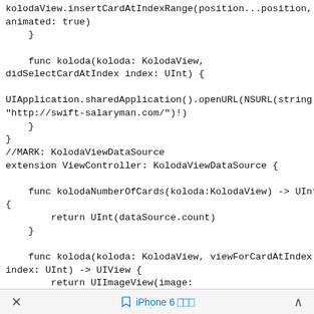kolodaView.insertCardAtIndexRange(position...position,
animated: true)
    }

    func koloda(koloda: KolodaView,
didSelectCardAtIndex index: UInt) {

UIApplication.sharedApplication().openURL(NSURL(string:
"http://swift-salaryman.com/")!)
    }
}
//MARK: KolodaViewDataSource
extension ViewController: KolodaViewDataSource {

    func kolodaNumberOfCards(koloda:KolodaView) -> UInt
{
        return UInt(dataSource.count)
    }

    func koloda(koloda: KolodaView, viewForCardAtIndex
index: UInt) -> UIView {
        return UIImageView(image:
dataSource[Int(index)])
    }

    func koloda(koloda: KolodaView,
viewForCardOverlayAtIndex index: UInt) -> OverlayView?
× iPhone 6 ∷∷∷ ∧